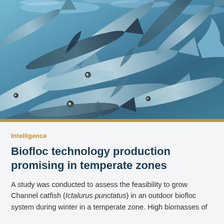[Figure (photo): Close-up photograph of many Channel catfish (Ictalurus punctatus) crowded together in water, showing their silver-blue bodies, fins, and eyes.]
Intelligence
Biofloc technology production promising in temperate zones
A study was conducted to assess the feasibility to grow Channel catfish (Ictalurus punctatus) in an outdoor biofloc system during winter in a temperate zone. High biomasses of